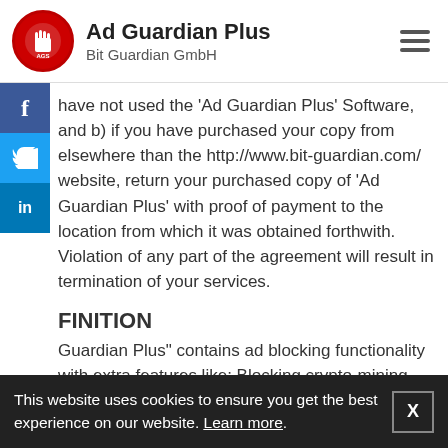Ad Guardian Plus | Bit Guardian GmbH
have not used the 'Ad Guardian Plus' Software, and b) if you have purchased your copy from elsewhere than the http://www.bit-guardian.com/ website, return your purchased copy of 'Ad Guardian Plus' with proof of payment to the location from which it was obtained forthwith. Violation of any part of the agreement will result in termination of your services.
FINITION
Guardian Plus" contains ad blocking functionality with extra features like: Blocking crypto-mining scripts, Ad trackers blocking, Phishing and malware
This website uses cookies to ensure you get the best experience on our website. Learn more.